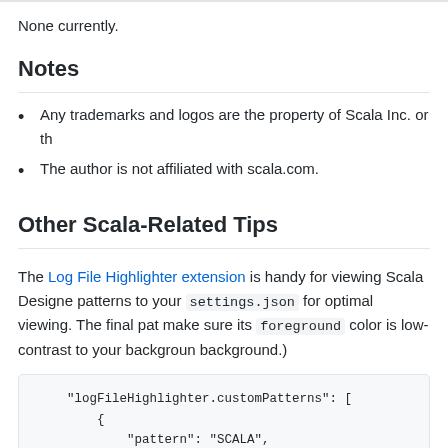None currently.
Notes
Any trademarks and logos are the property of Scala Inc. or th
The author is not affiliated with scala.com.
Other Scala-Related Tips
The Log File Highlighter extension is handy for viewing Scala Designe patterns to your settings.json for optimal viewing. The final pat make sure its foreground color is low-contrast to your backgroun background.)
"logFileHighlighter.customPatterns": [
    {
        "pattern": "SCALA",
        "foreground": "#AA0088"